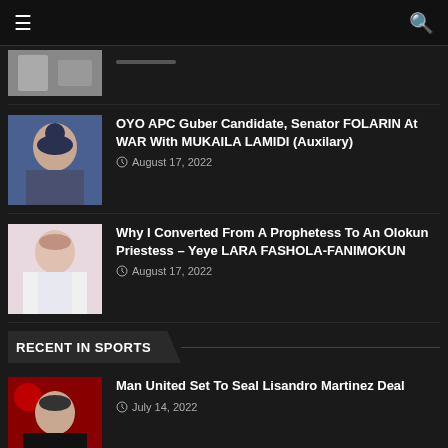Navigation bar with menu and search icons
[Figure (photo): Partial thumbnail of a news article at the top (cut off)]
OYO APC Guber Candidate, Senator FOLARIN At WAR With MUKAILA LAMIDI (Auxilary)
August 17, 2022
[Figure (photo): Photo of a woman in white traditional attire holding a staff — Yeye LARA FASHOLA-FANIMOKUN]
Why I Converted From A Prophetess To An Olokun Priestess – Yeye LARA FASHOLA-FANIMOKUN
August 17, 2022
RECENT IN SPORTS
[Figure (photo): Photo of Lisandro Martinez with Man United background]
Man United Set To Seal Lisandro Martinez Deal
July 14, 2022
[Figure (photo): Photo of Raheem Sterling in Chelsea kit]
Chelsea Finally Land Raheem Sterling From Man City